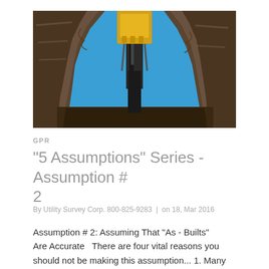[Figure (photo): Low-angle view from inside a trench looking up at a yellow excavator bucket and arm against a bright blue sky, with dirt walls on both sides.]
GPR
"5 Assumptions" Series - Assumption # 2
By Utility Survey Corp. 800-825-9283 | on 18, Mar 2016
Assumption # 2: Assuming That "As - Builts" Are Accurate   There are four vital reasons you should not be making this assumption... 1. Many